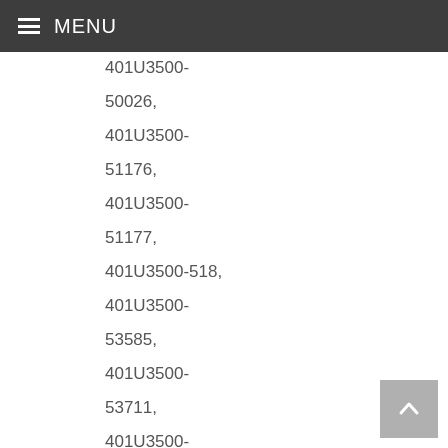MENU
401U3500-50026,
401U3500-51176,
401U3500-51177,
401U3500-518,
401U3500-53585,
401U3500-53711,
401U3500-53715,
401U3500-